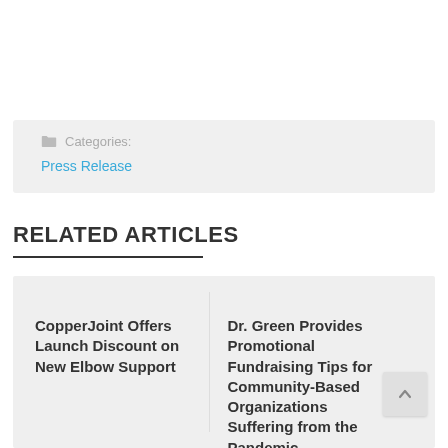Categories: Press Release
RELATED ARTICLES
CopperJoint Offers Launch Discount on New Elbow Support
Dr. Green Provides Promotional Fundraising Tips for Community-Based Organizations Suffering from the Pandemic